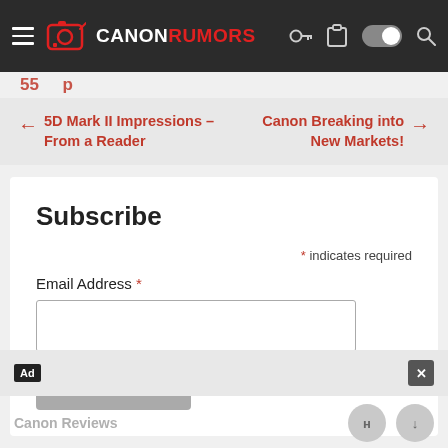CANON RUMORS
← 5D Mark II Impressions – From a Reader
Canon Breaking into New Markets! →
Subscribe
* indicates required
Email Address *
Canon Reviews